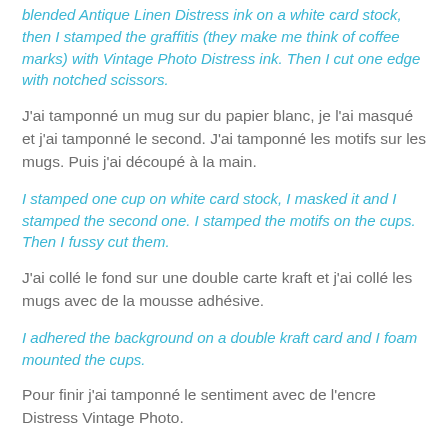blended Antique Linen Distress ink on a white card stock, then I stamped the graffitis (they make me think of coffee marks) with Vintage Photo Distress ink. Then I cut one edge with notched scissors.
J'ai tamponné un mug sur du papier blanc, je l'ai masqué et j'ai tamponné le second. J'ai tamponné les motifs sur les mugs. Puis j'ai découpé à la main.
I stamped one cup on white card stock, I masked it and I stamped the second one. I stamped the motifs on the cups. Then I fussy cut them.
J'ai collé le fond sur une double carte kraft et j'ai collé les mugs avec de la mousse adhésive.
I adhered the background on a double kraft card and I foam mounted the cups.
Pour finir j'ai tamponné le sentiment avec de l'encre Distress Vintage Photo.